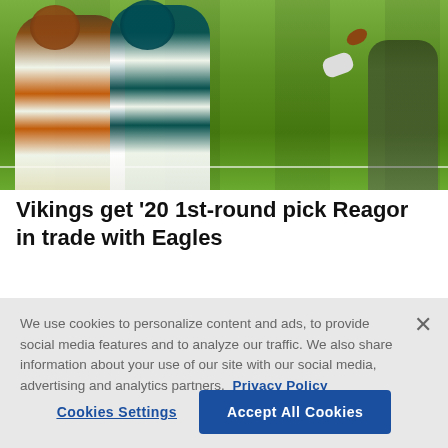[Figure (photo): NFL football action photo showing players from the Cleveland Browns and Philadelphia Eagles during a game on a green grass field.]
Vikings get '20 1st-round pick Reagor in trade with Eagles
We use cookies to personalize content and ads, to provide social media features and to analyze our traffic. We also share information about your use of our site with our social media, advertising and analytics partners. Privacy Policy
Cookies Settings | Accept All Cookies